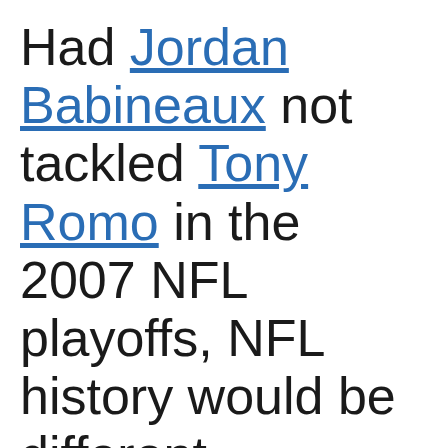Had Jordan Babineaux not tackled Tony Romo in the 2007 NFL playoffs, NFL history would be different.
The Dallas Cowboys have won three playoff games since 1996; against the Minnesota Vikings that year, in 2009 vs. the hated Philadelphia Eagles, and against the Detroit Lions in 2014.
If it wasn't for a mishandled Romo snap on a